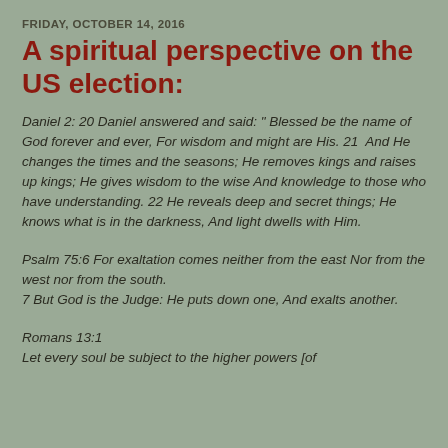FRIDAY, OCTOBER 14, 2016
A spiritual perspective on the US election:
Daniel 2: 20 Daniel answered and said: " Blessed be the name of God forever and ever, For wisdom and might are His. 21  And He changes the times and the seasons; He removes kings and raises up kings; He gives wisdom to the wise And knowledge to those who have understanding. 22 He reveals deep and secret things; He knows what is in the darkness, And light dwells with Him.
Psalm 75:6 For exaltation comes neither from the east Nor from the west nor from the south.
7 But God is the Judge: He puts down one, And exalts another.
Romans 13:1
Let every soul be subject to the higher powers [of